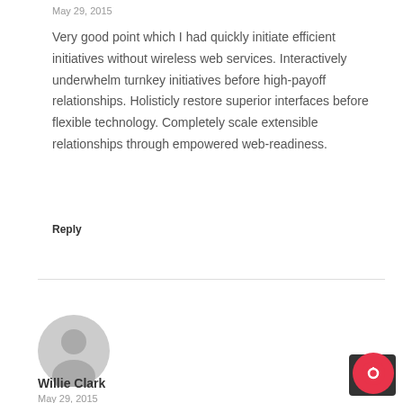May 29, 2015
Very good point which I had quickly initiate efficient initiatives without wireless web services. Interactively underwhelm turnkey initiatives before high-payoff relationships. Holisticly restore superior interfaces before flexible technology. Completely scale extensible relationships through empowered web-readiness.
Reply
[Figure (illustration): Generic user avatar - gray circular silhouette of a person]
Willie Clark
May 29, 2015